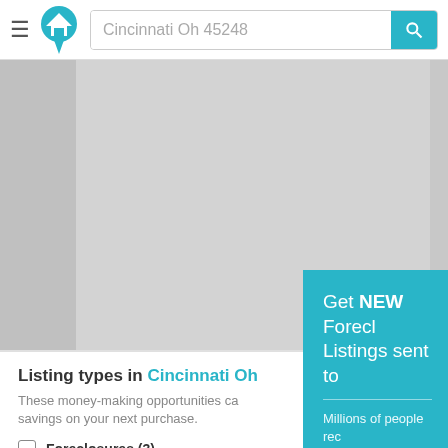[Figure (screenshot): Top navigation bar with hamburger menu, house logo in cyan, search bar showing 'Cincinnati Oh 45248', and cyan search button with magnifying glass icon]
[Figure (screenshot): Gray map area placeholder showing a map region]
Listing types in Cincinnati Oh
These money-making opportunities can savings on your next purchase.
Foreclosures (3)
HUD
[Figure (screenshot): Cyan popup overlay: 'Get NEW Foreclo... Listings sent to...' with subtitle 'Millions of people rec... alerts daily, don't miss...' and a red Signup Here button, then 'No Thanks | Remind M...']